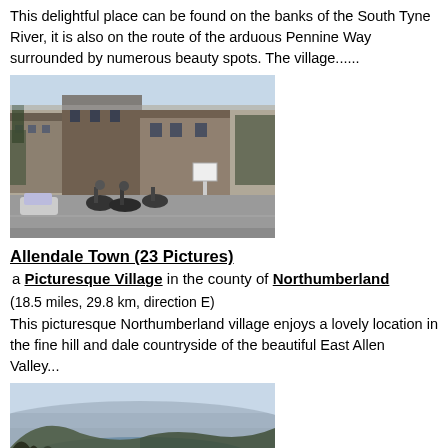This delightful place can be found on the banks of the South Tyne River, it is also on the route of the arduous Pennine Way surrounded by numerous beauty spots. The village......
[Figure (photo): Street scene of a village with stone buildings, horses and riders crossing a road, a car parked on the left, and trees in the background.]
Allendale Town (23 Pictures)
a Picturesque Village in the county of Northumberland
(18.5 miles, 29.8 km, direction E)
This picturesque Northumberland village enjoys a lovely location in the fine hill and dale countryside of the beautiful East Allen Valley...
[Figure (photo): Aerial or elevated landscape view showing a reservoir or lake surrounded by rolling hills and trees, with a hazy sky.]